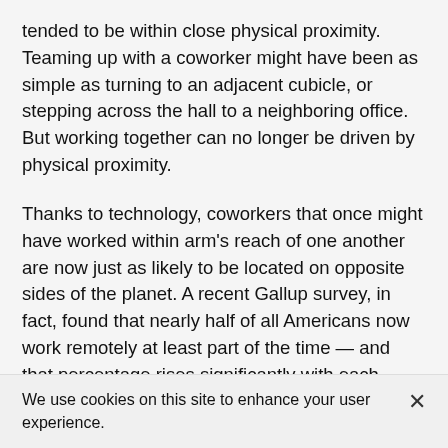tended to be within close physical proximity. Teaming up with a coworker might have been as simple as turning to an adjacent cubicle, or stepping across the hall to a neighboring office. But working together can no longer be driven by physical proximity.
Thanks to technology, coworkers that once might have worked within arm's reach of one another are now just as likely to be located on opposite sides of the planet. A recent Gallup survey, in fact, found that nearly half of all Americans now work remotely at least part of the time — and that percentage rises significantly with each passing year.
We use cookies on this site to enhance your user experience.